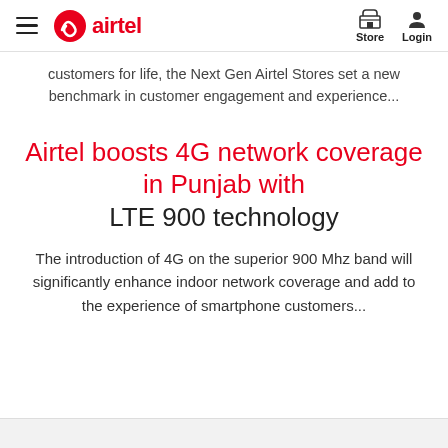airtel — Store | Login
customers for life, the Next Gen Airtel Stores set a new benchmark in customer engagement and experience...
Airtel boosts 4G network coverage in Punjab with LTE 900 technology
The introduction of 4G on the superior 900 Mhz band will significantly enhance indoor network coverage and add to the experience of smartphone customers...